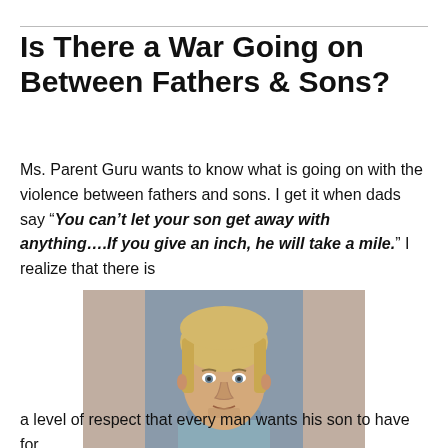Is There a War Going on Between Fathers & Sons?
Ms. Parent Guru wants to know what is going on with the violence between fathers and sons. I get it when dads say “You can’t let your son get away with anything….If you give an inch, he will take a mile.” I realize that there is
[Figure (photo): Mugshot-style photo of a young white male with blond shoulder-length hair and light stubble, wearing a blue shirt, against a gray background with blurred side panels.]
a level of respect that every man wants his son to have for